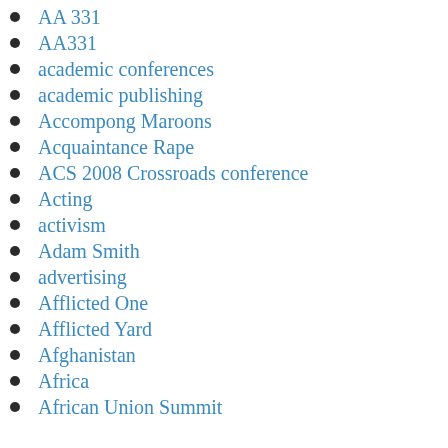AA 331
AA331
academic conferences
academic publishing
Accompong Maroons
Acquaintance Rape
ACS 2008 Crossroads conference
Acting
activism
Adam Smith
advertising
Afflicted One
Afflicted Yard
Afghanistan
Africa
African Union Summit